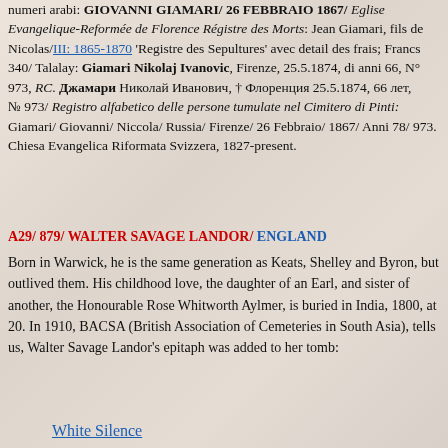numeri arabi: GIOVANNI GIAMARI/ 26 FEBBRAIO 1867/ Eglise Evangelique-Reformée de Florence Régistre des Morts: Jean Giamari, fils de Nicolas/ III: 1865-1870 'Registre des Sepultures' avec detail des frais; Francs 340/ Talalay: Giamari Nikolaj Ivanovic, Firenze, 25.5.1874, di anni 66, N° 973, RC. Джамари Николай Иванович, † Флоренция 25.5.1874, 66 лет, № 973/ Registro alfabetico delle persone tumulate nel Cimitero di Pinti: Giamari/ Giovanni/ Niccola/ Russia/ Firenze/ 26 Febbraio/ 1867/ Anni 78/ 973. Chiesa Evangelica Riformata Svizzera, 1827-present.
A29/ 879/ WALTER SAVAGE LANDOR/ ENGLAND
Born in Warwick, he is the same generation as Keats, Shelley and Byron, but outlived them. His childhood love, the daughter of an Earl, and sister of another, the Honourable Rose Whitworth Aylmer, is buried in India, 1800, at 20. In 1910, BACSA (British Association of Cemeteries in South Asia), tells us, Walter Savage Landor's epitaph was added to her tomb:
White Silence